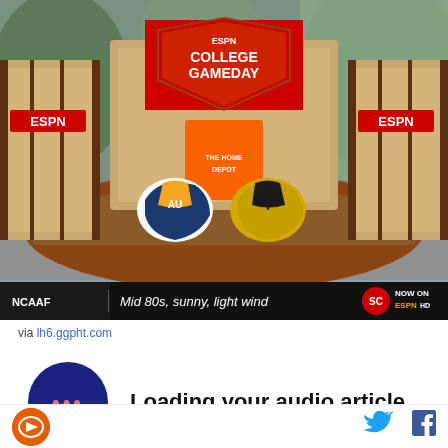[Figure (screenshot): ESPN College GameDay set with two football helmets (Auburn and Vanderbilt) on the desk, Home Depot logo visible. Ticker at bottom reads: NCAAF | Mid 80s, sunny, light wind | NOW ON ESPN HD]
via lh6.ggpht.com
Loading your audio article
A couple of years ago, GameDay came to Vanderbilt and I was lucky enough to attend. I made a huge Boise